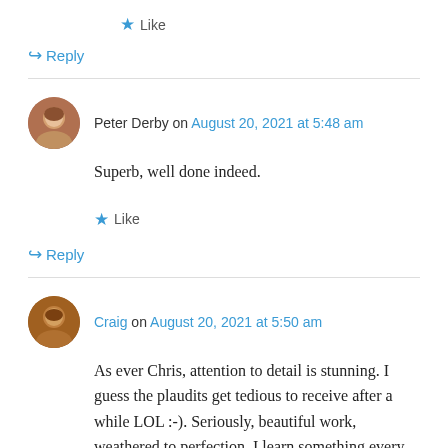★ Like
↪ Reply
Peter Derby on August 20, 2021 at 5:48 am
Superb, well done indeed.
★ Like
↪ Reply
Craig on August 20, 2021 at 5:50 am
As ever Chris, attention to detail is stunning. I guess the plaudits get tedious to receive after a while LOL :-). Seriously, beautiful work, weathered to perfection. I learn something every